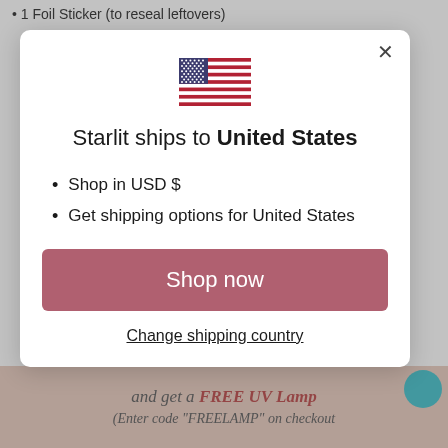1 Foil Sticker (to reseal leftovers)
[Figure (screenshot): Modal dialog showing US flag, 'Starlit ships to United States' heading, bullet points for USD and shipping options, a 'Shop now' button, and a 'Change shipping country' link]
and get a FREE UV Lamp
(Enter code "FREELAMP" on checkout